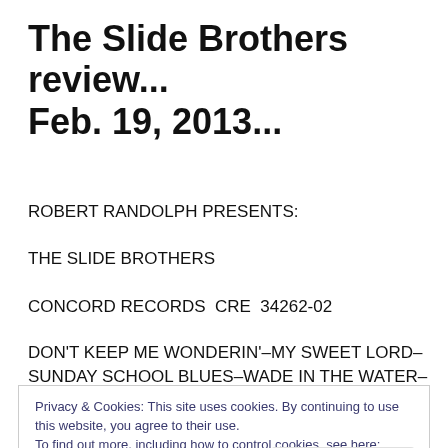The Slide Brothers review... Feb. 19, 2013...
ROBERT RANDOLPH PRESENTS:
THE SLIDE BROTHERS
CONCORD RECORDS  CRE  34262-02
DON'T KEEP ME WONDERIN'–MY SWEET LORD–SUNDAY SCHOOL BLUES–WADE IN THE WATER–
Privacy & Cookies: This site uses cookies. By continuing to use this website, you agree to their use.
To find out more, including how to control cookies, see here: Cookie Policy

Close and accept